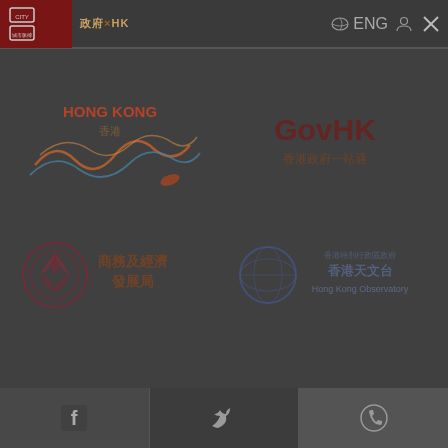[Figure (screenshot): Hong Kong government website navigation bar with red logo area, Chinese text navigation, language toggle ENG, user icon, and close X button]
[Figure (logo): Hong Kong Tourism Board logo - stylized bauhinia/wave design with HONG KONG text in red/gold Chinese and English]
[Figure (logo): GovHK logo - 香港政府一站通 (Hong Kong Government One-stop) portal logo in dark red and Chinese characters]
[Figure (logo): 商務及經濟發展局 (Commerce and Economic Development Bureau) logo with circular emblem]
[Figure (logo): 香港天文台 Hong Kong Observatory logo with circular globe emblem and bilingual text]
[Figure (screenshot): Bottom social media bar with Facebook, Twitter, and phone/contact icons on dark background]